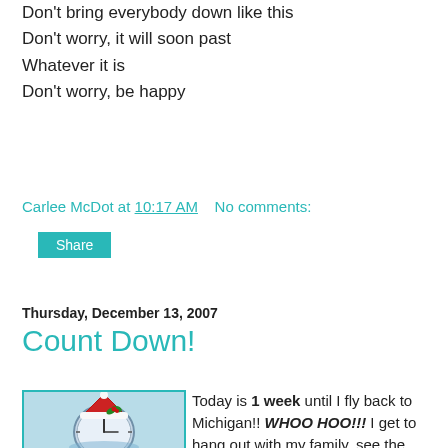Don't bring everybody down like this
Don't worry, it will soon past
Whatever it is
Don't worry, be happy
Carlee McDot at 10:17 AM   No comments:
Share
Thursday, December 13, 2007
Count Down!
[Figure (photo): Alarm clock wearing a red Santa hat with holly, set against a blue winter background]
Today is 1 week until I fly back to Michigan!! WHOO HOO!!! I get to hang out with my family, see the puppies, go to a Pistons game, see the Lights before Christmas at the zoo, and so much more (including but not limited to enjoying lots of Diet Sodas, getting small quantities of sleep and smiling A LOT). My flight, unless